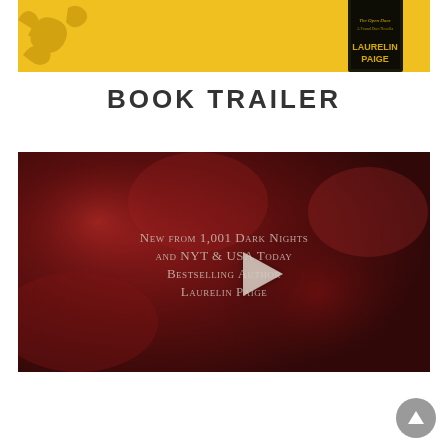[Figure (illustration): Book promotional banner with yellow/gold background, decorative swirl patterns, and a book cover for 'Laurelin Paige' displayed on the right side]
BOOK TRAILER
[Figure (screenshot): Video thumbnail with dark red/maroon blurred background showing text: 'New from 1,001 Dark Nights and NYT & USA Today Bestselling Author Laurelin Paige' with a play button overlay in the center]